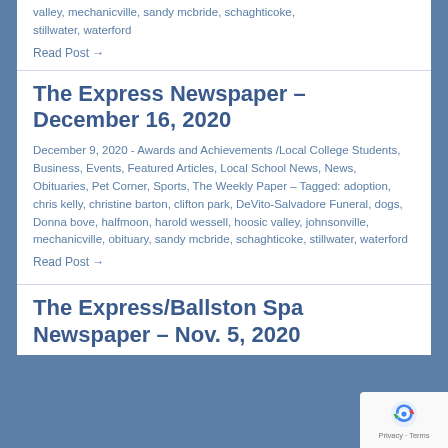valley, mechanicville, sandy mcbride, schaghticoke, stillwater, waterford
Read Post →
The Express Newspaper – December 16, 2020
December 9, 2020  -  Awards and Achievements /Local College Students, Business, Events, Featured Articles, Local School News, News, Obituaries, Pet Corner, Sports, The Weekly Paper  –  Tagged: adoption, chris kelly, christine barton, clifton park, DeVito-Salvadore Funeral, dogs, Donna bove, halfmoon, harold wessell, hoosic valley, johnsonville, mechanicville, obituary, sandy mcbride, schaghticoke, stillwater, waterford
Read Post →
The Express/Ballston Spa Newspaper – Nov. 5, 2020